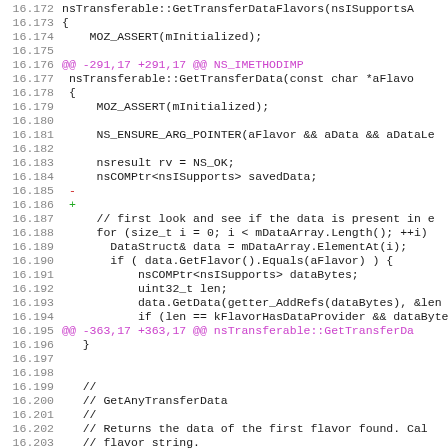[Figure (screenshot): Code diff viewer showing C++ source lines 16.172–16.204 from nsTransferable class, with diff markers (magenta @@ hunk headers, red minus, green plus) on a white background using monospace font.]